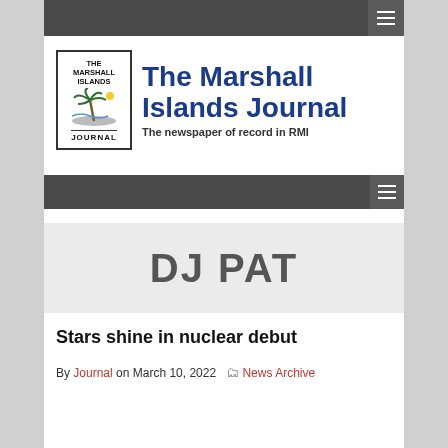[Figure (logo): The Marshall Islands Journal logo — box with 'THE MARSHALL ISLANDS' text, palm tree island illustration, 'JOURNAL' text below, beside large blue bold title 'The Marshall Islands Journal' and subtitle 'The newspaper of record in RMI']
DJ PAT
Stars shine in nuclear debut
By Journal on March 10, 2022  News Archive